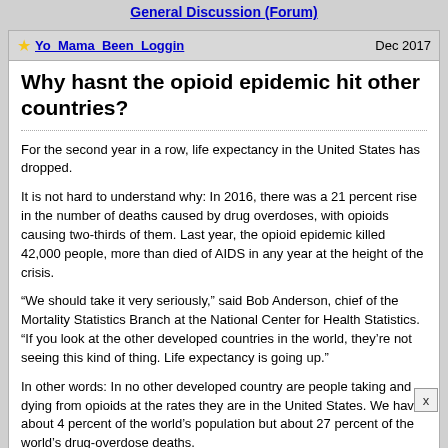General Discussion (Forum)
Yo_Mama_Been_Loggin  Dec 2017
Why hasnt the opioid epidemic hit other countries?
For the second year in a row, life expectancy in the United States has dropped.
It is not hard to understand why: In 2016, there was a 21 percent rise in the number of deaths caused by drug overdoses, with opioids causing two-thirds of them. Last year, the opioid epidemic killed 42,000 people, more than died of AIDS in any year at the height of the crisis.
“We should take it very seriously,” said Bob Anderson, chief of the Mortality Statistics Branch at the National Center for Health Statistics. “If you look at the other developed countries in the world, they’re not seeing this kind of thing. Life expectancy is going up.”
In other words: In no other developed country are people taking and dying from opioids at the rates they are in the United States. We have about 4 percent of the world’s population but about 27 percent of the world’s drug-overdose deaths.